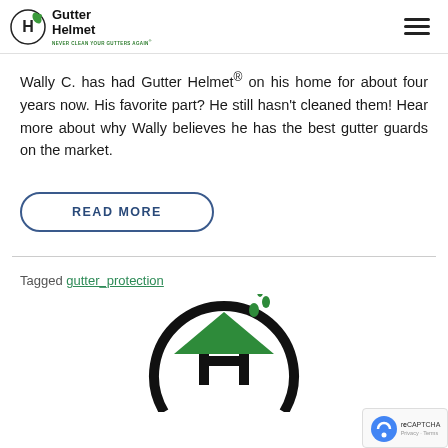Gutter Helmet — NEVER CLEAN YOUR GUTTERS AGAIN®
Wally C. has had Gutter Helmet® on his home for about four years now. His favorite part? He still hasn't cleaned them! Hear more about why Wally believes he has the best gutter guards on the market.
READ MORE
Tagged gutter_protection
[Figure (logo): Gutter Helmet logo — circular H emblem with green roof and water droplets]